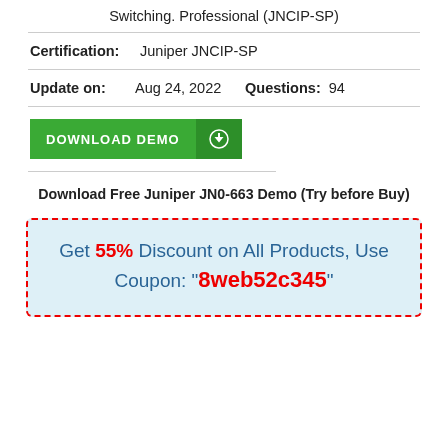Switching. Professional (JNCIP-SP)
Certification:    Juniper JNCIP-SP
Update on:    Aug 24, 2022    Questions:    94
[Figure (other): Green DOWNLOAD DEMO button with download icon]
Download Free Juniper JN0-663 Demo (Try before Buy)
Get 55% Discount on All Products, Use Coupon: "8web52c345"